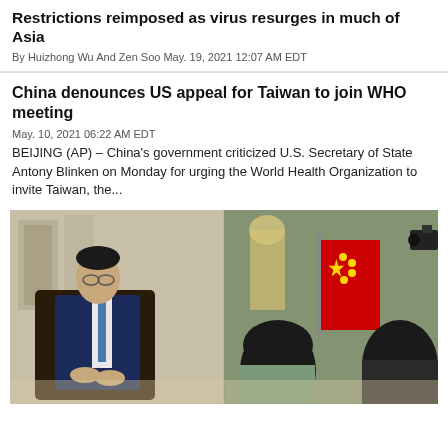Restrictions reimposed as virus resurges in much of Asia
By Huizhong Wu And Zen Soo May. 19, 2021 12:07 AM EDT
China denounces US appeal for Taiwan to join WHO meeting
May. 10, 2021 06:22 AM EDT
BEIJING (AP) – China's government criticized U.S. Secretary of State Antony Blinken on Monday for urging the World Health Organization to invite Taiwan, the...
[Figure (photo): Photo of a Chinese official in a blue suit seated during an interview, with the Chinese flag visible and people in the background on the right side.]